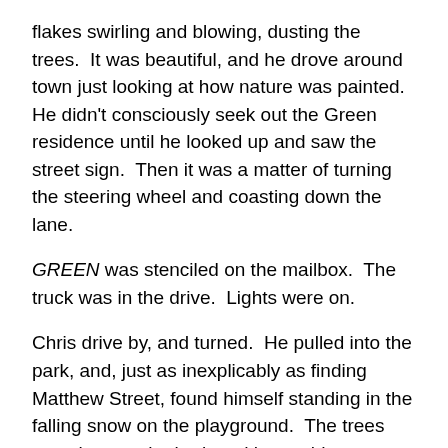flakes swirling and blowing, dusting the trees.  It was beautiful, and he drove around town just looking at how nature was painted.  He didn't consciously seek out the Green residence until he looked up and saw the street sign.  Then it was a matter of turning the steering wheel and coasting down the lane.
GREEN was stenciled on the mailbox.  The truck was in the drive.  Lights were on.
Chris drive by, and turned.  He pulled into the park, and, just as inexplicably as finding Matthew Street, found himself standing in the falling snow on the playground.  The trees were bare to the bark and he could see through them to the houses on the other side.
He could see the rear of the Green home.